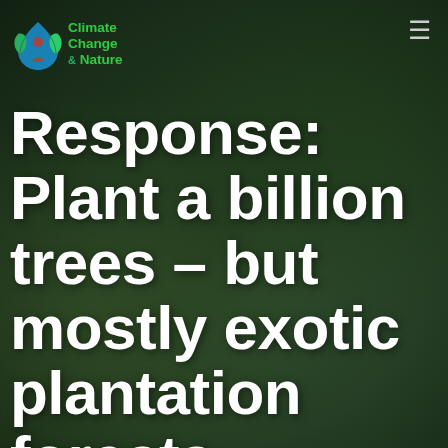Climate Change & Nature
Response: Plant a billion trees – but mostly exotic plantation forests